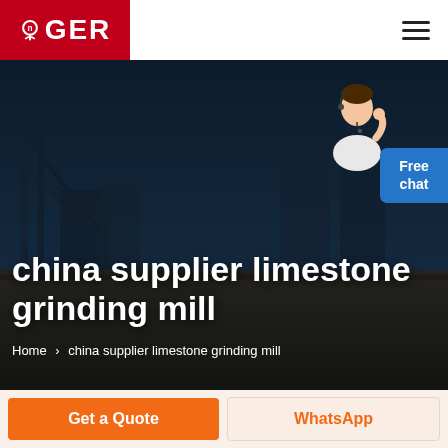GER
[Figure (screenshot): Industrial mining facility hero background image with dark blue overlay, showing conveyor systems and industrial equipment at dusk/night]
china supplier limestone grinding mill
Home > china supplier limestone grinding mill
[Figure (illustration): Customer service agent illustration - woman in white blazer with headset, gesturing with hand raised]
Free chat
Get a Quote
WhatsApp